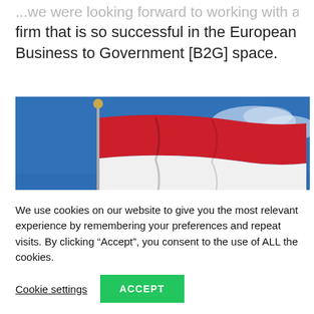...we were looking forward to working with a firm that is so successful in the European Business to Government [B2G] space.
[Figure (photo): Dutch flag (red, white, blue horizontal stripes) waving on a flagpole against a blue sky with light clouds.]
We use cookies on our website to give you the most relevant experience by remembering your preferences and repeat visits. By clicking "Accept", you consent to the use of ALL the cookies.
Cookie settings   ACCEPT